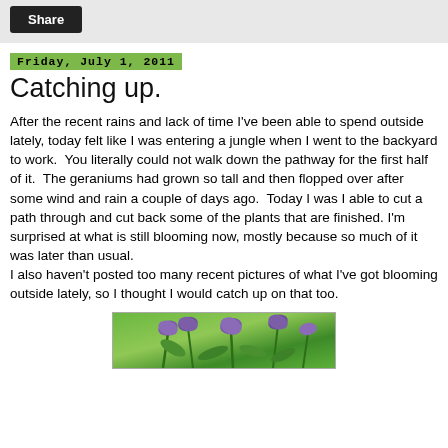Share
Friday, July 1, 2011
Catching up.
After the recent rains and lack of time I've been able to spend outside lately, today felt like I was entering a jungle when I went to the backyard to work.  You literally could not walk down the pathway for the first half of it.  The geraniums had grown so tall and then flopped over after some wind and rain a couple of days ago.  Today I was I able to cut a path through and cut back some of the plants that are finished. I'm surprised at what is still blooming now, mostly because so much of it was later than usual.
I also haven't posted too many recent pictures of what I've got blooming outside lately, so I thought I would catch up on that too.
[Figure (photo): Photo of purple flowers with green stems and foliage, partially visible at the bottom of the page]